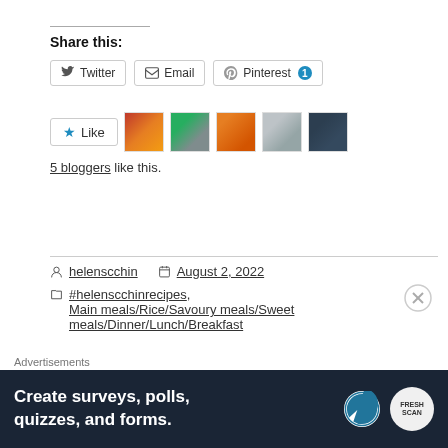Share this:
[Figure (screenshot): Social sharing buttons: Twitter, Email, Pinterest with badge showing 1]
[Figure (screenshot): Like button with star icon and 5 blogger avatar thumbnails]
5 bloggers like this.
helenscchin   August 2, 2022
#helenscchinrecipes, Main meals/Rice/Savoury meals/Sweet meals/Dinner/Lunch/Breakfast
Advertisements
[Figure (screenshot): Advertisement banner: Create surveys, polls, quizzes, and forms. WordPress and FreshScan logos.]